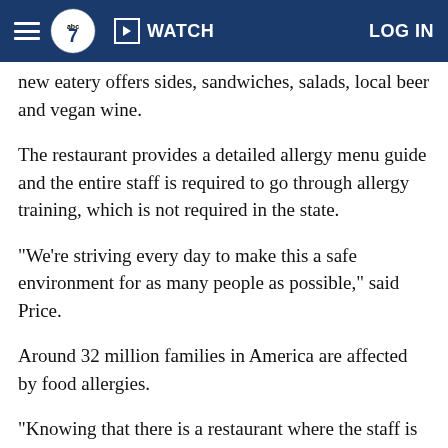WATCH  LOG IN
new eatery offers sides, sandwiches, salads, local beer and vegan wine.
The restaurant provides a detailed allergy menu guide and the entire staff is required to go through allergy training, which is not required in the state.
"We're striving every day to make this a safe environment for as many people as possible," said Price.
Around 32 million families in America are affected by food allergies.
"Knowing that there is a restaurant where the staff is